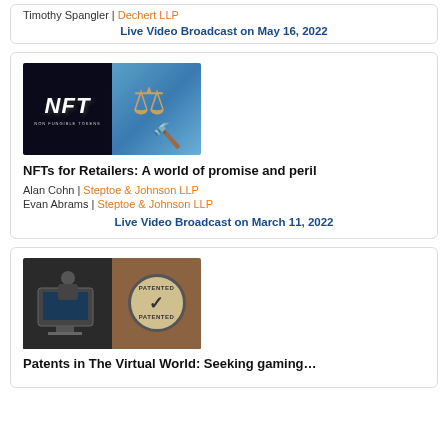Timothy Spangler | Dechert LLP
Live Video Broadcast on May 16, 2022
[Figure (photo): Composite image: left side shows NFT (Non Fungible Token) logo on dark background; right side shows a gavel and scales of justice on blue background]
NFTs for Retailers: A world of promise and peril
Alan Cohn | Steptoe & Johnson LLP
Evan Abrams | Steptoe & Johnson LLP
Live Video Broadcast on March 11, 2022
[Figure (photo): Composite image: left side shows a person working at a computer screen; right side shows a patented stamp/seal on wooden background]
Patents in The Virtual World: Seeking gaming…